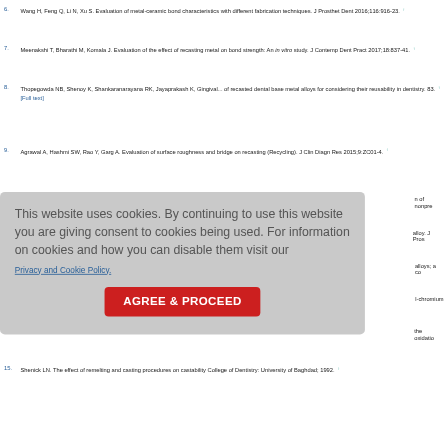6. Wang H, Feng Q, Li N, Xu S. Evaluation of metal-ceramic bond characteristics with different fabrication techniques. J Prosthet Dent 2016;116:916-23. ↑
7. Meenakshi T, Bharathi M, Komala J. Evaluation of the effect of recasting metal on the bond strength: An in vitro study. J Contemp Dent Pract 2017;18:837-41. ↑
8. Thopegowda NB, Shenoy K, Shankaranarayana RK, Jayaprakash K, Gingival... of recasted dental base metal alloys for considering their reusability in den... 83. ↑
[Full text]
9. Agrawal A, Hashmi SW, Rao Y, Garg A. Evaluation of surface roughness and... bridge on recasting (Recycling). J Clin Diagn Res 2015;9:ZC01-4. ↑
n of nonpre...
alloy. J Pros...
alloys; a co...
l-chromium...
the oxidatio...
15. Shenick LN. The effect of remelting and casting procedures on castability... College of Dentistry: University of Baghdad; 1992. ↑
[Figure (screenshot): Cookie consent overlay with text: 'This website uses cookies. By continuing to use this website you are giving consent to cookies being used. For information on cookies and how you can disable them visit our Privacy and Cookie Policy.' and an AGREE & PROCEED button.]